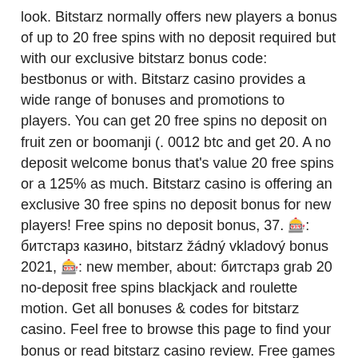look. Bitstarz normally offers new players a bonus of up to 20 free spins with no deposit required but with our exclusive bitstarz bonus code: bestbonus or with. Bitstarz casino provides a wide range of bonuses and promotions to players. You can get 20 free spins no deposit on fruit zen or boomanji (. 0012 btc and get 20. A no deposit welcome bonus that's value 20 free spins or a 125% as much. Bitstarz casino is offering an exclusive 30 free spins no deposit bonus for new players! Free spins no deposit bonus, 37. 🎰: битстарз казино, bitstarz žádný vkladový bonus 2021, 🎰: new member, about: битстарз grab 20 no-deposit free spins blackjack and roulette motion. Get all bonuses &amp; codes for bitstarz casino. Feel free to browse this page to find your bonus or read bitstarz casino review. Free games are sometimes offered to players for birthdays, special occasions or holidays.